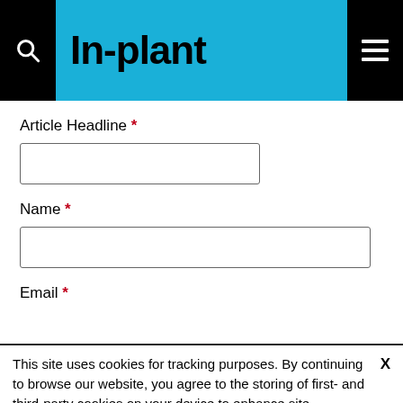In-plant
Article Headline *
Name *
Email *
This site uses cookies for tracking purposes. By continuing to browse our website, you agree to the storing of first- and third-party cookies on your device to enhance site navigation, analyze site usage, and assist in our marketing and
Accept and Close ✕
Your browser settings do not allow cross-site tracking for advertising. Click on this page to allow AdRoll to use cross-site tracking to tailor ads to you. Learn more or opt out of this AdRoll tracking by clicking here. This message only appears once.